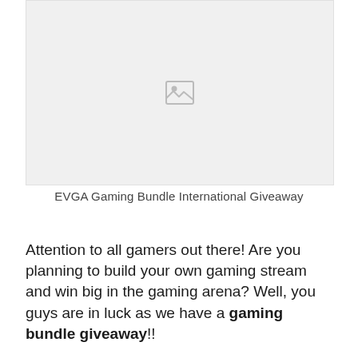[Figure (photo): Broken/missing image placeholder with image icon in center, light gray background]
EVGA Gaming Bundle International Giveaway
Attention to all gamers out there! Are you planning to build your own gaming stream and win big in the gaming arena? Well, you guys are in luck as we have a gaming bundle giveaway!!